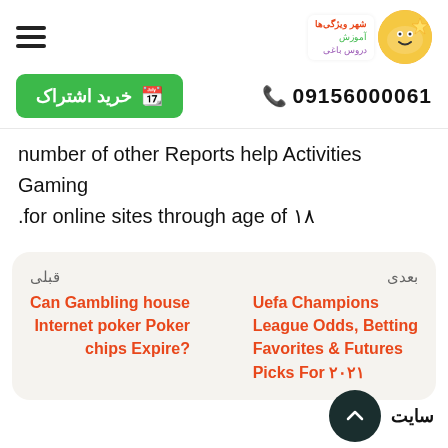[Figure (logo): Website logo with colorful circular emblem and Persian text labels]
خرید اشتراک
09156000061
number of other Reports help Activities Gaming .for online sites through age of ۱۸
بعدی
Uefa Champions League Odds, Betting Favorites & Futures Picks For ۲۰۲۱
قبلی
Can Gambling house Internet poker Poker chips Expire?
سایت